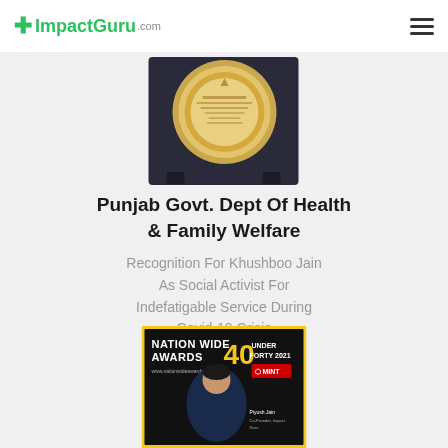+ImpactGuru.com
[Figure (photo): Gold medal/plate award in a dark display box, photographed from front]
Punjab Govt. Dept Of Health & Family Welfare
Recognition For Khushboo Jain As Social Activist For Indefatigable Service During Covid-19 Crisis
[Figure (photo): Nation Wide Awards 40 Under Forty 2021 award certificate/poster featuring a man in dark shirt, powered by Mint]